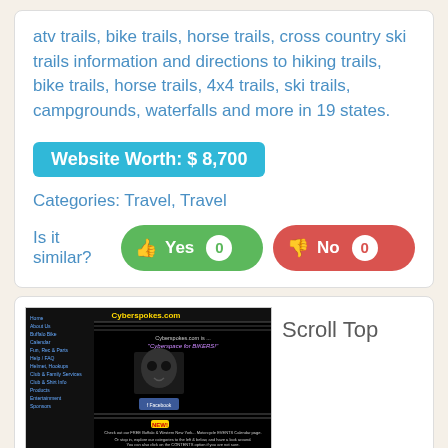atv trails, bike trails, horse trails, cross country ski trails information and directions to hiking trails, bike trails, horse trails, 4x4 trails, ski trails, campgrounds, waterfalls and more in 19 states.
Website Worth: $ 8,700
Categories: Travel, Travel
Is it similar?  Yes 0  No 0
[Figure (screenshot): Screenshot of Cyberspokes.com website showing navigation menu on left, site title, logo, Facebook button, and promotional text about Buffalo & Western New York Motorcycle Events Calendar.]